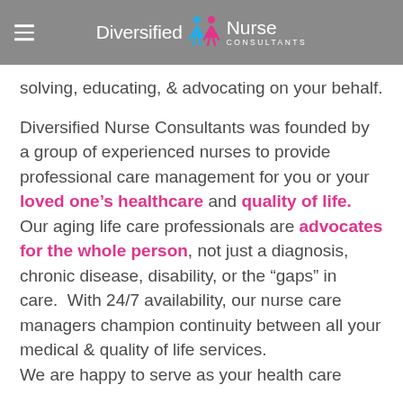Diversified Nurse Consultants
solving, educating, & advocating on your behalf.
Diversified Nurse Consultants was founded by a group of experienced nurses to provide professional care management for you or your loved one's healthcare and quality of life. Our aging life care professionals are advocates for the whole person, not just a diagnosis, chronic disease, disability, or the "gaps" in care.  With 24/7 availability, our nurse care managers champion continuity between all your medical & quality of life services.
We are happy to serve as your health care